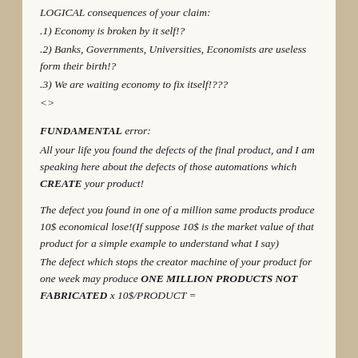LOGICAL consequences of your claim:
.1) Economy is broken by it self!?
.2) Banks, Governments, Universities, Economists are useless form their birth!?
.3) We are waiting economy to fix itself!???
<>
FUNDAMENTAL error:
All your life you found the defects of the final product, and I am speaking here about the defects of those automations which CREATE your product!
The defect you found in one of a million same products produce 10$ economical lose!(If suppose 10$ is the market value of that product for a simple example to understand what I say)
The defect which stops the creator machine of your product for one week may produce ONE MILLION PRODUCTS NOT FABRICATED x 10$/PRODUCT =